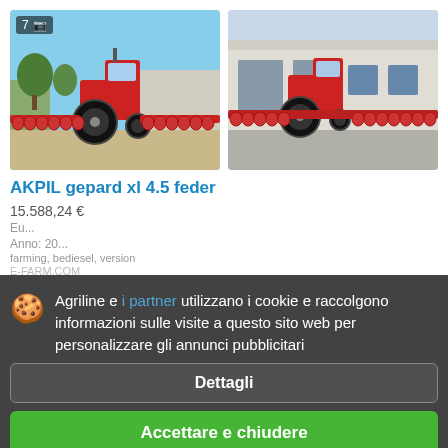[Figure (photo): Red tractor with large disc harrow attachment in outdoor yard, badge showing 7 photos]
[Figure (photo): Red tractor with wide disc harrow in front of industrial building]
AKPIL gepard xl 4.5 feder
15.588,24 €
Agriline e i partner utilizzano i cookie e raccolgono informazioni sulle visite a questo sito web per personalizzare gli annunci pubblicitari
Dettagli
Accettare e chiudere